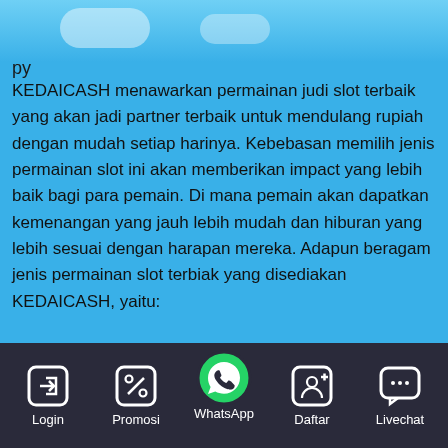py
KEDAICASH menawarkan permainan judi slot terbaik yang akan jadi partner terbaik untuk mendulang rupiah dengan mudah setiap harinya. Kebebasan memilih jenis permainan slot ini akan memberikan impact yang lebih baik bagi para pemain. Di mana pemain akan dapatkan kemenangan yang jauh lebih mudah dan hiburan yang lebih sesuai dengan harapan mereka. Adapun beragam jenis permainan slot terbiak yang disediakan KEDAICASH, yaitu:
1. Judi Slot Pragmatic
[Figure (screenshot): Mobile navigation bar with five icons: Login, Promosi, WhatsApp (center, raised green circle), Daftar, Livechat. Dark background bar at the bottom of the screen.]